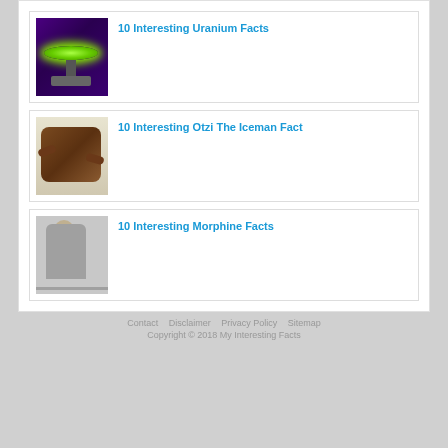[Figure (photo): Thumbnail image of glowing green uranium glass on purple background]
10 Interesting Uranium Facts
[Figure (photo): Thumbnail image of Otzi the Iceman mummy]
10 Interesting Otzi The Iceman Fact
[Figure (photo): Thumbnail image of person sitting on floor related to morphine]
10 Interesting Morphine Facts
Contact   Disclaimer   Privacy Policy   Sitemap
Copyright © 2018 My Interesting Facts